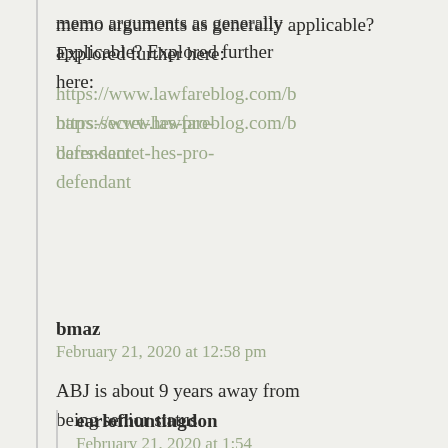memo arguments as generally applicable? Explored further here: https://www.lawfareblog.com/t barrs-secret-hes-pro-defendant
bmaz
February 21, 2020 at 12:58 pm

ABJ is about 9 years away from being senior status.
earlofhuntingdon
February 21, 2020 at 1:54 pm